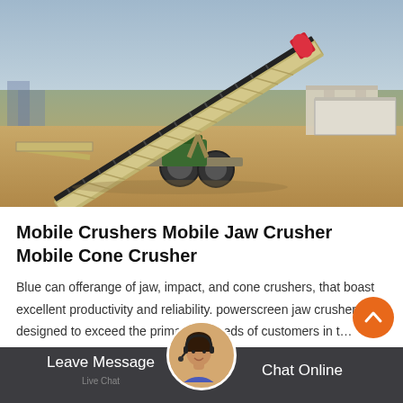[Figure (photo): Photograph of a large mobile conveyor belt / stacker machine on a trailer with wheels, set in an outdoor industrial yard with sandy ground, equipment and a white trailer visible in the background under a blue sky.]
Mobile Crushers Mobile Jaw Crusher Mobile Cone Crusher
Blue can offerange of jaw, impact, and cone crushers, that boast excellent productivity and reliability. powerscreen jaw crushers are designed to exceed the prima... ng needs of customers in t…
Leave Message   Live Chat   Chat Online